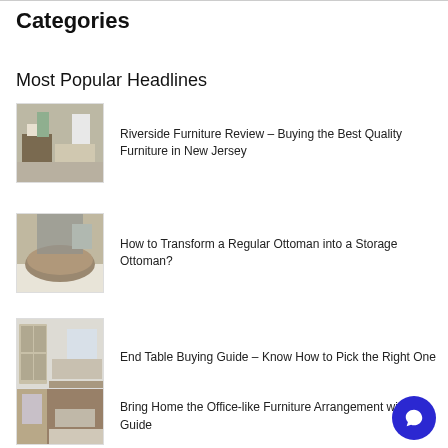Categories
Most Popular Headlines
Riverside Furniture Review – Buying the Best Quality Furniture in New Jersey
How to Transform a Regular Ottoman into a Storage Ottoman?
End Table Buying Guide – Know How to Pick the Right One
Bring Home the Office-like Furniture Arrangement with this Guide